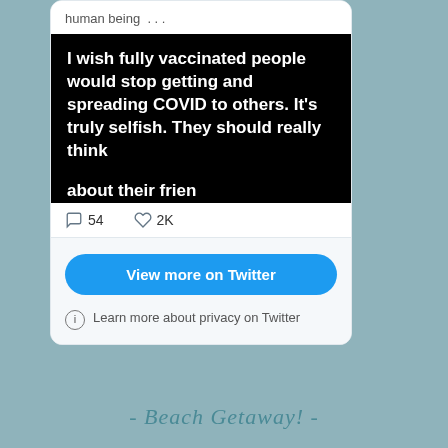human being . . .
[Figure (screenshot): Black background image with white bold text reading: I wish fully vaccinated people would stop getting and spreading COVID to others. It’s truly selfish. They should really think about their frien... (cut off)]
54  2K
View more on Twitter
Learn more about privacy on Twitter
- Beach Getaway! -